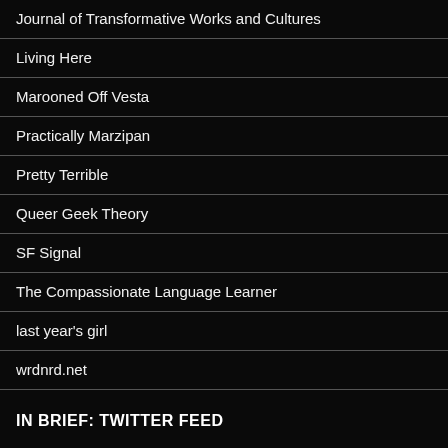Journal of Transformative Works and Cultures
Living Here
Marooned Off Vesta
Practically Marzipan
Pretty Terrible
Queer Geek Theory
SF Signal
The Compassionate Language Learner
last year's girl
wrdnrd.net
IN BRIEF: TWITTER FEED